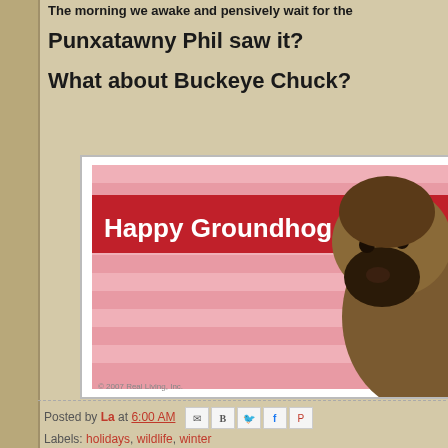The morning we awake and pensively wait for the
Punxatawny Phil saw it?
What about Buckeye Chuck?
[Figure (photo): Happy Groundhog Day greeting card image with a groundhog photo on a pink/red striped background. Text reads 'Happy Groundhog Day!' with copyright '© 2007 Real Living, Inc.']
Posted by La at 6:00 AM
Labels: holidays, wildlife, winter